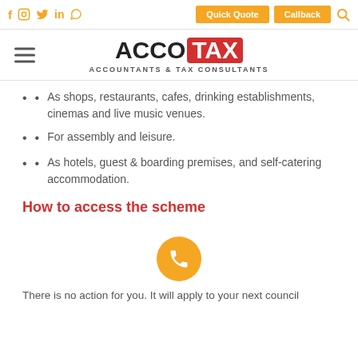Social icons: f, instagram, twitter, in, whatsapp | Quick Quote | Callback | Search
[Figure (logo): AccoTax logo - ACCO in black bold, TAX in white on red background, with tagline ACCOUNTANTS & TAX CONSULTANTS]
As shops, restaurants, cafes, drinking establishments, cinemas and live music venues.
For assembly and leisure.
As hotels, guest & boarding premises, and self-catering accommodation.
How to access the scheme
[Figure (illustration): Orange circular phone call button]
There is no action for you. It will apply to your next council